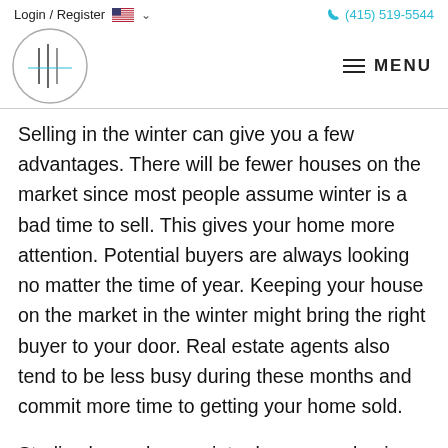Login / Register   (415) 519-5544
[Figure (logo): Abstract logo with vertical lines inside a circle]
Selling in the winter can give you a few advantages. There will be fewer houses on the market since most people assume winter is a bad time to sell. This gives your home more attention. Potential buyers are always looking no matter the time of year. Keeping your house on the market in the winter might bring the right buyer to your door. Real estate agents also tend to be less busy during these months and commit more time to getting your home sold.
Studies have shown winter buyers are buying because they need to move right away either for a relocation or